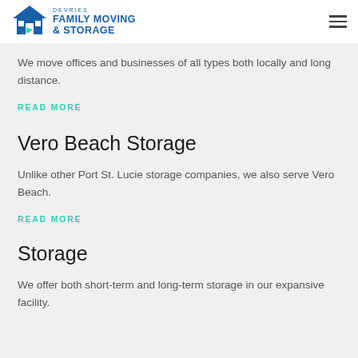DeVries Family Moving & Storage
We move offices and businesses of all types both locally and long distance.
READ MORE
Vero Beach Storage
Unlike other Port St. Lucie storage companies, we also serve Vero Beach.
READ MORE
Storage
We offer both short-term and long-term storage in our expansive facility.